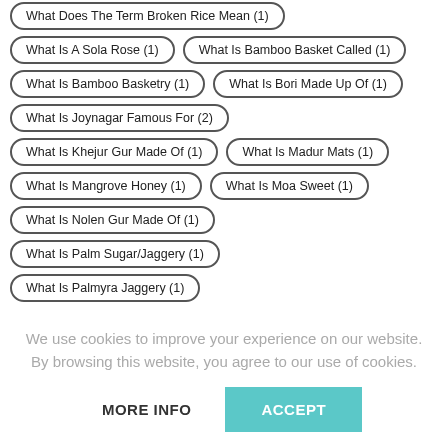What Does The Term Broken Rice Mean (1)
What Is A Sola Rose (1)
What Is Bamboo Basket Called (1)
What Is Bamboo Basketry (1)
What Is Bori Made Up Of (1)
What Is Joynagar Famous For (2)
What Is Khejur Gur Made Of (1)
What Is Madur Mats (1)
What Is Mangrove Honey (1)
What Is Moa Sweet (1)
What Is Nolen Gur Made Of (1)
What Is Palm Sugar/Jaggery (1)
What Is Palmyra Jaggery (1)
We use cookies to improve your experience on our website. By browsing this website, you agree to our use of cookies.
MORE INFO
ACCEPT